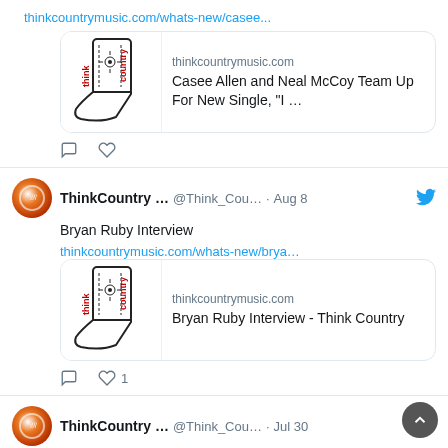thinkcountrymusic.com/whats-new/casee...
[Figure (screenshot): Tweet card with Think Country logo (cowboy boot) and link preview: thinkcountrymusic.com - Casee Allen and Neal McCoy Team Up For New Single, "I ..."]
ThinkCountry ... @Think_Cou... · Aug 8 — Bryan Ruby Interview — thinkcountrymusic.com/whats-new/brya...
[Figure (screenshot): Tweet card with Think Country logo (cowboy boot) and link preview: thinkcountrymusic.com - Bryan Ruby Interview - Think Country]
1 like
ThinkCountry ... @Think_Cou... · Jul 30 — thinkcountrymusic.com/whats-new/melb...